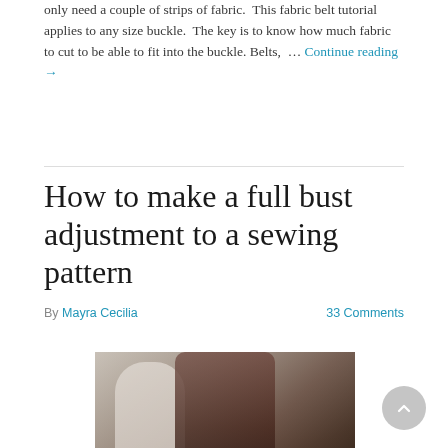only need a couple of strips of fabric.  This fabric belt tutorial applies to any size buckle.  The key is to know how much fabric to cut to be able to fit into the buckle. Belts, … Continue reading →
How to make a full bust adjustment to a sewing pattern
By Mayra Cecilia   33 Comments
[Figure (photo): A person measuring a white dress form/mannequin in a sewing studio or workshop, with fabric rolls and sewing supplies in the background.]